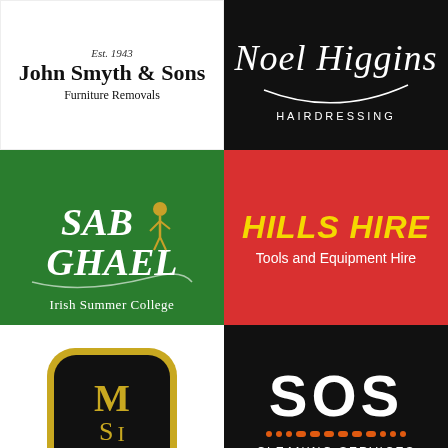[Figure (logo): John Smyth & Sons Furniture Removals logo. Est. 1943, serif font, black on white.]
[Figure (logo): Noel Higgins Hairdressing logo. Script font on black background.]
[Figure (logo): SAB GHAEL Irish Summer College logo. Green background with white Gaelic script text.]
[Figure (logo): HILLS HIRE Tools and Equipment Hire logo. Yellow italic text on red background.]
[Figure (logo): MSI logo. Gold rounded square with black inner square, gold letters M S I.]
[Figure (logo): SOS Cleaning Services logo. White bold SOS text with orange dots on black background.]
[Figure (logo): TYPETEC logo. TT in circle, sans-serif text.]
[Figure (logo): wriggle logo. Colourful mosaic spiral, blue brand name text.]